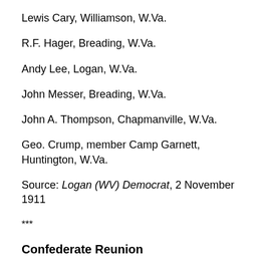Lewis Cary, Williamson, W.Va.
R.F. Hager, Breading, W.Va.
Andy Lee, Logan, W.Va.
John Messer, Breading, W.Va.
John A. Thompson, Chapmanville, W.Va.
Geo. Crump, member Camp Garnett, Huntington, W.Va.
Source: Logan (WV) Democrat, 2 November 1911
***
Confederate Reunion
To Confederate Veterans, Camp Straton:
The next reunion of the members of said Camp will be